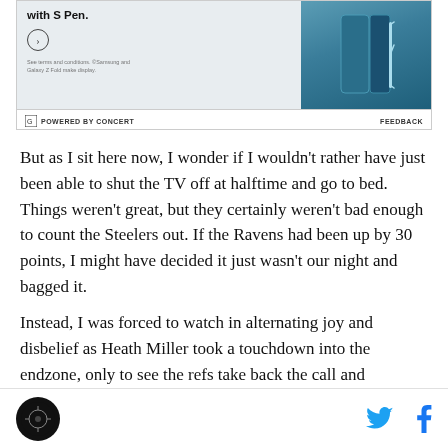[Figure (screenshot): Samsung Galaxy Z Fold advertisement banner showing phone with S Pen, with a circular arrow button and fine print below. The right side shows a teal/blue colored folded phone device.]
POWERED BY CONCERT   FEEDBACK
But as I sit here now, I wonder if I wouldn't rather have just been able to shut the TV off at halftime and go to bed. Things weren't great, but they certainly weren't bad enough to count the Steelers out. If the Ravens had been up by 30 points, I might have decided it just wasn't our night and bagged it.
Instead, I was forced to watch in alternating joy and disbelief as Heath Miller took a touchdown into the endzone, only to see the refs take back the call and